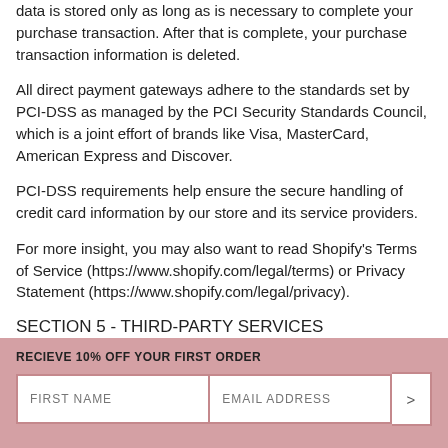data is stored only as long as is necessary to complete your purchase transaction. After that is complete, your purchase transaction information is deleted.
All direct payment gateways adhere to the standards set by PCI-DSS as managed by the PCI Security Standards Council, which is a joint effort of brands like Visa, MasterCard, American Express and Discover.
PCI-DSS requirements help ensure the secure handling of credit card information by our store and its service providers.
For more insight, you may also want to read Shopify's Terms of Service (https://www.shopify.com/legal/terms) or Privacy Statement (https://www.shopify.com/legal/privacy).
SECTION 5 - THIRD-PARTY SERVICES
RECIEVE 10% OFF YOUR FIRST ORDER
FIRST NAME | EMAIL ADDRESS | >